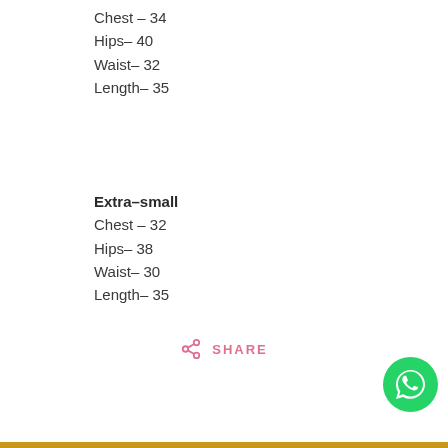Chest - 34
Hips- 40
Waist- 32
Length- 35
Extra-small
Chest - 32
Hips- 38
Waist- 30
Length- 35
SHARE
[Figure (logo): WhatsApp chat button - green circle with white phone/chat icon]